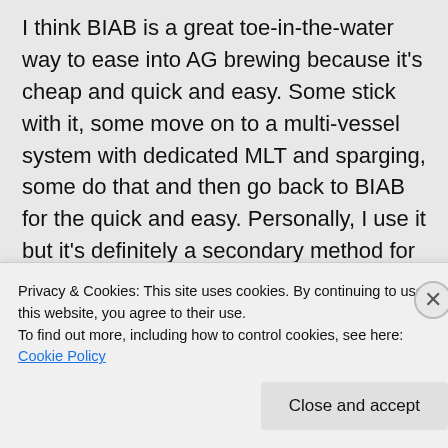I think BIAB is a great toe-in-the-water way to ease into AG brewing because it's cheap and quick and easy. Some stick with it, some move on to a multi-vessel system with dedicated MLT and sparging, some do that and then go back to BIAB for the quick and easy. Personally, I use it but it's definitely a secondary method for me; if you'd like a full spirited defense of BIAB, I suggest you hit up Mr. Keeler: http://20acrecarcass.com. It is his jam, as
Privacy & Cookies: This site uses cookies. By continuing to use this website, you agree to their use.
To find out more, including how to control cookies, see here: Cookie Policy